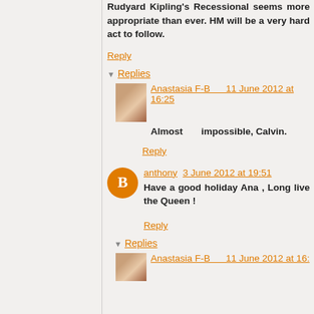Rudyard Kipling's Recessional seems more appropriate than ever. HM will be a very hard act to follow.
Reply
Replies
Anastasia F-B  11 June 2012 at 16:25
Almost impossible, Calvin.
Reply
anthony  3 June 2012 at 19:51
Have a good holiday Ana , Long live the Queen !
Reply
Replies
Anastasia F-B  11 June 2012 at 16: